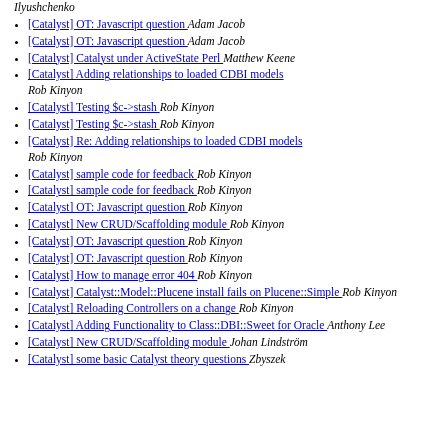Ilyushchenko
[Catalyst] OT: Javascript question  Adam Jacob
[Catalyst] OT: Javascript question  Adam Jacob
[Catalyst] Catalyst under ActiveState Perl  Matthew Keene
[Catalyst] Adding relationships to loaded CDBI models  Rob Kinyon
[Catalyst] Testing $c->stash  Rob Kinyon
[Catalyst] Testing $c->stash  Rob Kinyon
[Catalyst] Re: Adding relationships to loaded CDBI models  Rob Kinyon
[Catalyst] sample code for feedback  Rob Kinyon
[Catalyst] sample code for feedback  Rob Kinyon
[Catalyst] OT: Javascript question  Rob Kinyon
[Catalyst] New CRUD/Scaffolding module  Rob Kinyon
[Catalyst] OT: Javascript question  Rob Kinyon
[Catalyst] OT: Javascript question  Rob Kinyon
[Catalyst] How to manage error 404  Rob Kinyon
[Catalyst] Catalyst::Model::Plucene install fails on Plucene::Simple  Rob Kinyon
[Catalyst] Reloading Controllers on a change  Rob Kinyon
[Catalyst] Adding Functionality to Class::DBI::Sweet for Oracle  Anthony Lee
[Catalyst] New CRUD/Scaffolding module  Johan Lindström
[Catalyst] some basic Catalyst theory questions  Zbyszek